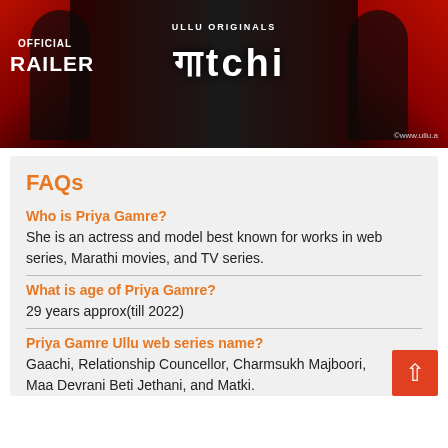[Figure (photo): Ullu Originals Gaachi web series official trailer thumbnail with text 'OFFICIAL TRAILER', 'ULLU ORIGINALS', Gaachi title in Hindi/Devanagari, red drapes, dark background, and watermark ©www.ullu.a]
FAQs
Who is Priya Gamre?
She is an actress and model best known for works in web series, Marathi movies, and TV series.
What is age of Priya Gamre?
29 years approx(till 2022)
Priya Gamre Ullu web series name?
Gaachi, Relationship Councellor, Charmsukh Majboori, Maa Devrani Beti Jethani, and Matki.